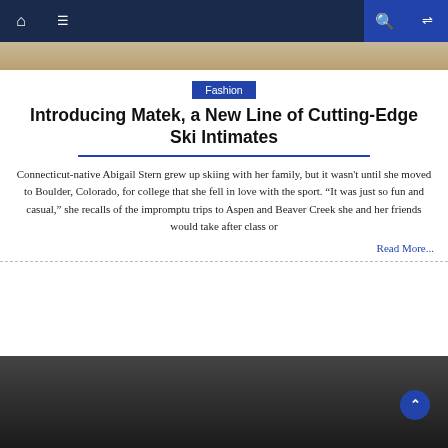Navigation bar with home, menu, search, and shuffle icons
[Figure (photo): Top banner image showing a sandy/wooden textured surface]
Fashion
Introducing Matek, a New Line of Cutting-Edge Ski Intimates
Connecticut-native Abigail Stern grew up skiing with her family, but it wasn't until she moved to Boulder, Colorado, for college that she fell in love with the sport. “It was just so fun and casual,” she recalls of the impromptu trips to Aspen and Beaver Creek she and her friends would take after class or
Read More...
[Figure (photo): Bottom partial image showing a person wearing dark clothing against a dark background]